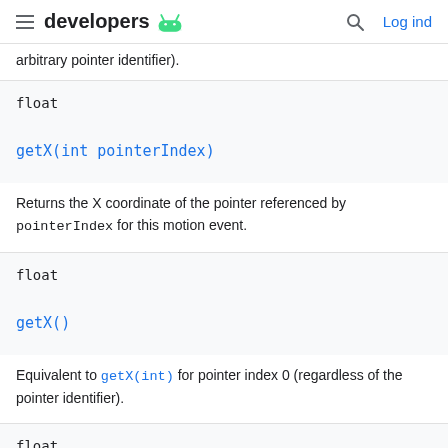developers  Log ind
arbitrary pointer identifier).
float
getX(int pointerIndex)
Returns the X coordinate of the pointer referenced by pointerIndex for this motion event.
float
getX()
Equivalent to getX(int) for pointer index 0 (regardless of the pointer identifier).
float